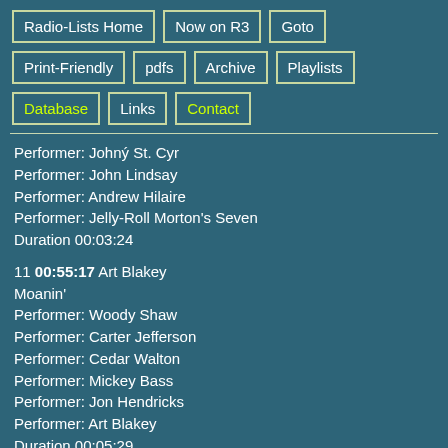Radio-Lists Home
Now on R3
Goto
Print-Friendly
pdfs
Archive
Playlists
Database
Links
Contact
Performer: Johnyý St. Cyr
Performer: John Lindsay
Performer: Andrew Hilaire
Performer: Jelly-Roll Morton's Seven
Duration 00:03:24
11 00:55:17 Art Blakey
Moanin'
Performer: Woody Shaw
Performer: Carter Jefferson
Performer: Cedar Walton
Performer: Mickey Bass
Performer: Jon Hendricks
Performer: Art Blakey
Duration 00:05:29